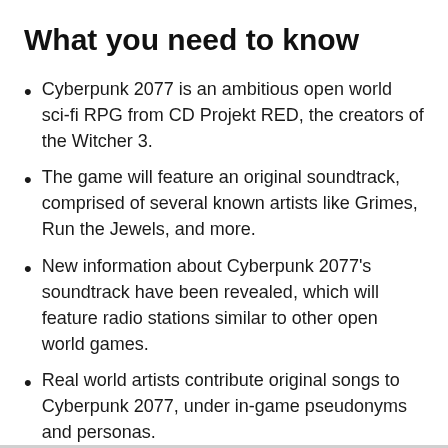What you need to know
Cyberpunk 2077 is an ambitious open world sci-fi RPG from CD Projekt RED, the creators of the Witcher 3.
The game will feature an original soundtrack, comprised of several known artists like Grimes, Run the Jewels, and more.
New information about Cyberpunk 2077's soundtrack have been revealed, which will feature radio stations similar to other open world games.
Real world artists contribute original songs to Cyberpunk 2077, under in-game pseudonyms and personas.
Cyberpunk 2077 is an incredibly ambitious project